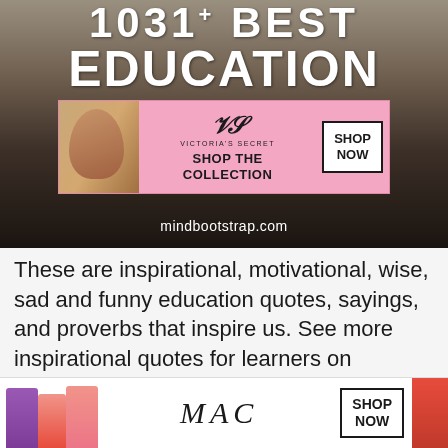[Figure (screenshot): Hero banner image with text '1031 BEST EDUCATION' overlaid on a dark background showing books on grass, with a Victoria's Secret advertisement banner and the URL mindbootstrap.com at the bottom]
These are inspirational, motivational, wise, sad and funny education quotes, sayings, and proverbs that inspire us. See more inspirational quotes for learners on MindBootstrap.
[Figure (screenshot): MAC cosmetics advertisement banner showing lipsticks in purple, pink and red colors with 'SHOP NOW' button]